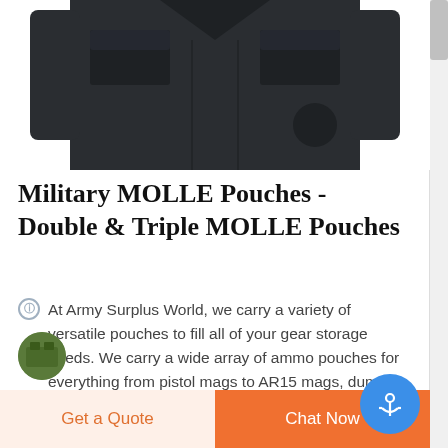[Figure (photo): Dark navy/black military jacket with multiple pockets, shown from the front, partially cropped at top]
Military MOLLE Pouches - Double & Triple MOLLE Pouches
At Army Surplus World, we carry a variety of versatile pouches to fill all of your gear storage needs. We carry a wide array of ammo pouches for everything from pistol mags to AR15 mags, dump pouches, grenade pouches and many other miscellaneous MOLLE pouches as well as accessories such as MOLLE straps in different sizes.